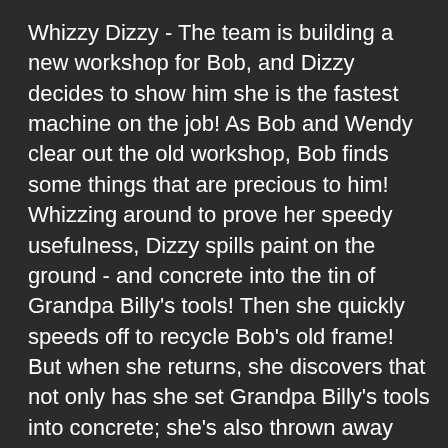Whizzy Dizzy - The team is building a new workshop for Bob, and Dizzy decides to show him she is the fastest machine on the job! As Bob and Wendy clear out the old workshop, Bob finds some things that are precious to him! Whizzing around to prove her speedy usefulness, Dizzy spills paint on the ground - and concrete into the tin of Grandpa Billy's tools! Then she quickly speeds off to recycle Bob's old frame! But when she returns, she discovers that not only has she set Grandpa Billy's tools into concrete; she's also thrown away Bob's precious frame! Dizzy has an idea to make up for the mistakes she's made. Wendy helps to mount the concreted tools in the rescued frame, and hang it over the door of the new workshop. When Bob sees his new sign, he's over the moon! Travis' New Garage - The team has a big job